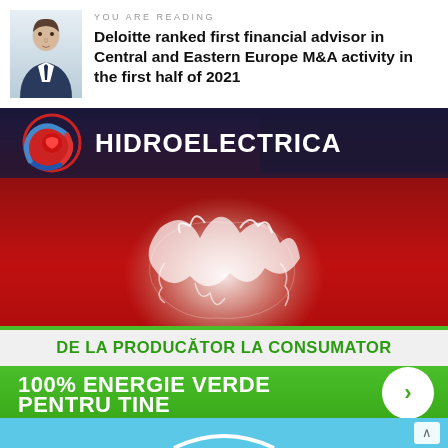YOU ARE READING
Deloitte ranked first financial advisor in Central and Eastern Europe M&A activity in the first half of 2021
[Figure (illustration): Hidroelectrica advertisement banner showing lightning/energy effect over Romania map silhouette on red background, with text 'DE LA PRODUCĂTOR LA CONSUMATOR' and '100% ENERGIE VERDE PENTRU TINE' on green banner with arrow button]
[Figure (illustration): Bottom blue strip partially visible with arc shape and scroll-up arrow button]